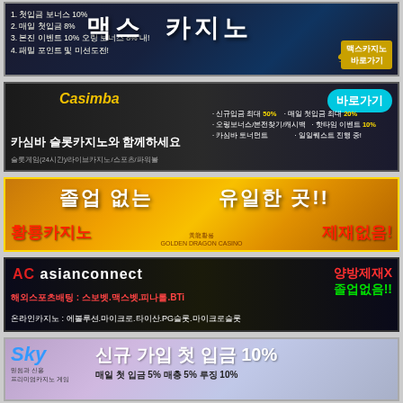[Figure (infographic): 맥스카지노 banner: dark blue background with casino cards imagery. Text lists bonuses: 첫입금 보너스 10%, 매일 첫입금 8%, 본진 이벤트 10% 오링 보너스 8%, 페밀 포인트 및 미션도전. Large title 맥스카지노 in white. Gold badge 맥스카지노 바로가기.]
[Figure (infographic): Casimba casino banner: dark background. Logo Casimba in gold italic. 바로가기 cyan button top right. Main text 카심바 슬롯카지노와 함께하세요. Right side lists: 신규입금 최대 50%, 오링보너스/본전찾기/캐시백, 카심바 토너먼트, 매일 첫입금 최대 20%, 핫타임 이벤트 10%, 일일퀘스트 진행 중!]
[Figure (infographic): 황룡카지노 (Golden Dragon Casino) banner: gold/orange gradient background. Text: 졸업 없는 유일한 곳!!, 황룡카지노, 黃龍황룡, GOLDEN DRAGON CASINO, 제재없음!]
[Figure (infographic): Asian Connect banner: dark background with 77 slot imagery. Logo asianconnect in red/white. Right: 양방제재X 졸업없음!! in red/green. Bottom: 해외스포츠배팅 : 스보벳.맥스벳.피나롤.BTI, 온라인카지노 : 에볼루션.마이크로.타이산.PG슬롯.마이크로슬롯]
[Figure (infographic): Sky Casino banner: purple/lavender gradient. SKY logo in blue. Text: 믿음과 신용 프리미엄카지노 게임. Right: 신규 가입 첫 입금 10%, 매일 첫 입금 5% 매충 5% 루징 10%]